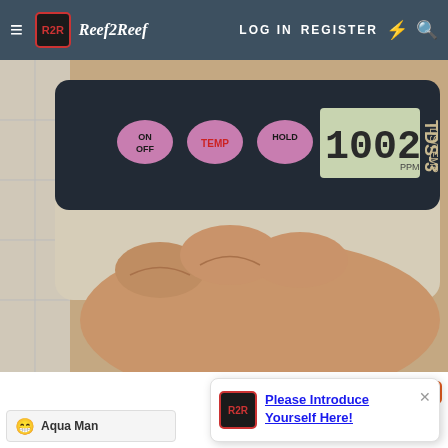Reef2Reef — LOG IN  REGISTER
[Figure (photo): Close-up photo of a hand holding a TDS-3 TDS/TEMP meter with ON/OFF, TEMP, and HOLD buttons visible and a digital display showing 1002.]
Reply  Like  Reply
😁 Aqua Man
Please Introduce Yourself Here!